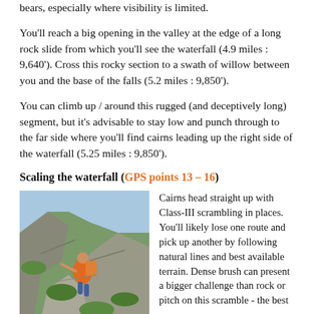bears, especially where visibility is limited.
You'll reach a big opening in the valley at the edge of a long rock slide from which you'll see the waterfall (4.9 miles : 9,640'). Cross this rocky section to a swath of willow between you and the base of the falls (5.2 miles : 9,850').
You can climb up / around this rugged (and deceptively long) segment, but it's advisable to stay low and punch through to the far side where you'll find cairns leading up the right side of the waterfall (5.25 miles : 9,850').
Scaling the waterfall (GPS points 13 – 16)
[Figure (photo): A hiker with a large backpack scrambling up steep rocky terrain with green vegetation, ascending beside a waterfall route.]
Cairns head straight up with Class-III scrambling in places. You'll likely lose one route and pick up another by following natural lines and best available terrain. Dense brush can present a bigger challenge than rock or pitch on this scramble - the best